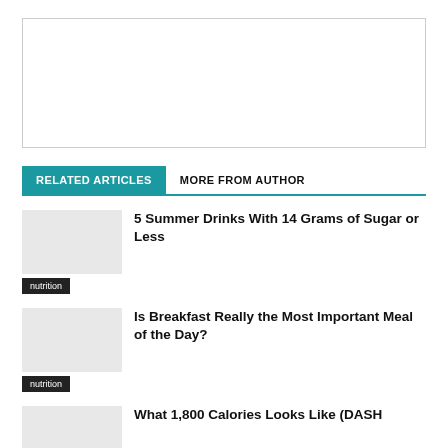[Figure (other): Advertisement placeholder box, white with border]
RELATED ARTICLES
MORE FROM AUTHOR
[Figure (photo): Thumbnail image placeholder for article 1]
5 Summer Drinks With 14 Grams of Sugar or Less
nutrition
[Figure (photo): Thumbnail image placeholder for article 2]
Is Breakfast Really the Most Important Meal of the Day?
nutrition
What 1,800 Calories Looks Like (DASH